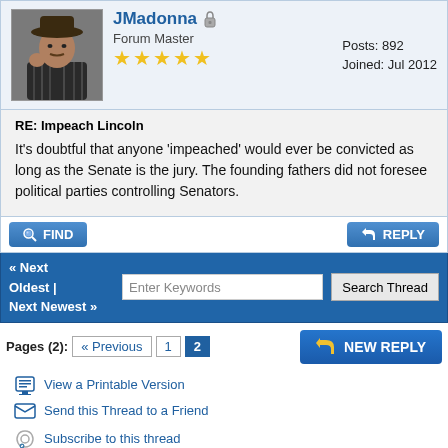[Figure (screenshot): Forum user avatar: man with cowboy hat, dark clothing]
JMadonna Forum Master ★★★★★ Posts: 892 Joined: Jul 2012
RE: Impeach Lincoln
It's doubtful that anyone 'impeached' would ever be convicted as long as the Senate is the jury. The founding fathers did not foresee political parties controlling Senators.
FIND | REPLY
« Next Oldest | Next Newest » Enter Keywords Search Thread
Pages (2): « Previous 1 2 NEW REPLY
View a Printable Version
Send this Thread to a Friend
Subscribe to this thread
Forum Jump: -- Abraham Lincoln - The White House Years Go